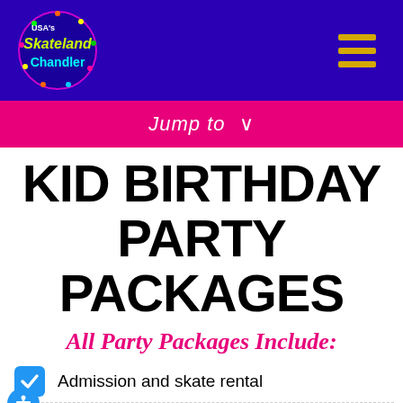[Figure (logo): USA's Skateland Chandler logo on dark blue navigation header with hamburger menu icon]
Jump to ∨
KID BIRTHDAY PARTY PACKAGES
All Party Packages Include:
Admission and skate rental
A fun Party Host